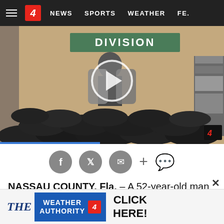≡  4  NEWS  SPORTS  WEATHER  FEA...
[Figure (screenshot): Video thumbnail showing a law enforcement officer standing behind a large pile of black bags of marijuana, in front of a wall that reads 'DIVISION'. A play button overlay is visible in the center.]
[Figure (infographic): Social sharing icons: Facebook, Twitter, Email, Plus, Comment]
NASSAU COUNTY, Fla. – A 52-year-old man in Nassau County was arrested after deputies conducted a storage
[Figure (infographic): Advertisement banner: THE WEATHER AUTHORITY [Channel 4 logo] CLICK HERE!]